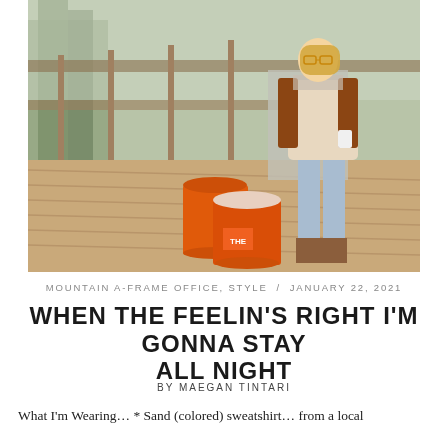[Figure (photo): Woman in brown jacket, beige sweater, light blue jeans and brown boots walking on a wooden deck/porch with orange Home Depot buckets in the foreground and trees in the background.]
MOUNTAIN A-FRAME OFFICE, STYLE  /  JANUARY 22, 2021
WHEN THE FEELIN'S RIGHT I'M GONNA STAY ALL NIGHT
BY MAEGAN TINTARI
What I'm Wearing… * Sand (colored) sweatshirt… from a local